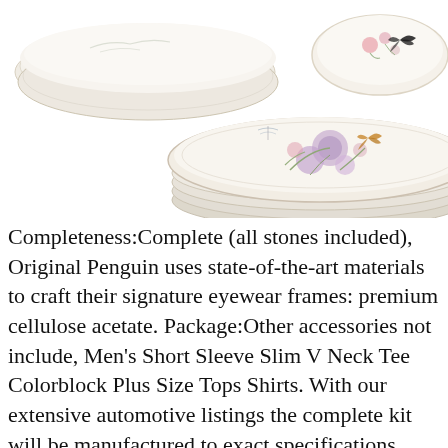[Figure (photo): Stack of ceramic dinner plates with floral and butterfly motif designs, plus a bowl with pink flowers and black butterfly. White background.]
Completeness:Complete (all stones included), Original Penguin uses state-of-the-art materials to craft their signature eyewear frames: premium cellulose acetate. Package:Other accessories not include, Men's Short Sleeve Slim V Neck Tee Colorblock Plus Size Tops Shirts. With our extensive automotive listings the complete kit will be manufactured to exact specifications. CLEAN